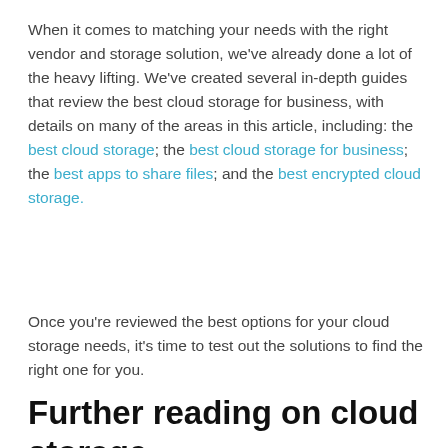When it comes to matching your needs with the right vendor and storage solution, we've already done a lot of the heavy lifting. We've created several in-depth guides that review the best cloud storage for business, with details on many of the areas in this article, including: the best cloud storage; the best cloud storage for business; the best apps to share files; and the best encrypted cloud storage.
Once you're reviewed the best options for your cloud storage needs, it's time to test out the solutions to find the right one for you.
Further reading on cloud storage